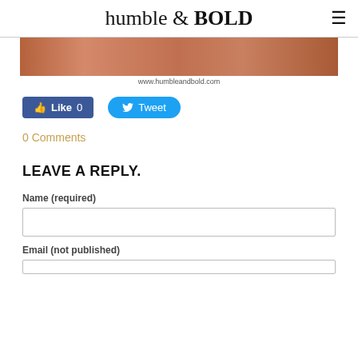humble & BOLD
[Figure (photo): Partial food/pizza image cropped at top with www.humbleandbold.com watermark]
Like 0   Tweet
0 Comments
LEAVE A REPLY.
Name (required)
Email (not published)